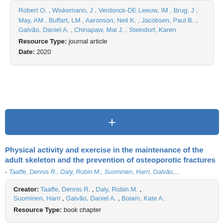Robert O. , Wiskemann, J , Verdonck-DE Leeuw, IM , Brug, J , May, AM , Buffart, LM , Aaronson, Neil K. , Jacobsen, Paul B. , Galvão, Daniel A. , Chinapaw, Mai J. , Steindorf, Karen
Resource Type: journal article
Date: 2020
+
Physical activity and exercise in the maintenance of the adult skeleton and the prevention of osteoporotic fractures
- Taaffe, Dennis R., Daly, Robin M., Suominen, Harri, Galvão,…
Creator: Taaffe, Dennis R. , Daly, Robin M. , Suominen, Harri , Galvão, Daniel A. , Bolam, Kate A.
Resource Type: book chapter